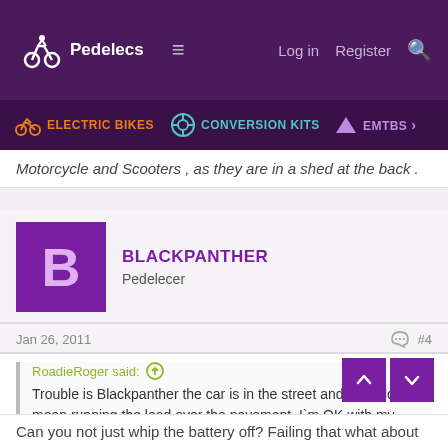Pedelecs — Log in  Register
ELECTRIC BIKES  CONVERSION KITS  EMTBS
Motorcycle and Scooters , as they are in a shed at the back .
BLACKPANTHER
Pedelecer
Jan 26, 2011  #4
RoadieRoger said: Trouble is Blackpanther the car is in the street and it would mean running the lead over the pavement .I`m OK with my Motorcycle and Scooters , as they are in a shed at the back .
Can you not just whip the battery off? Failing that what about